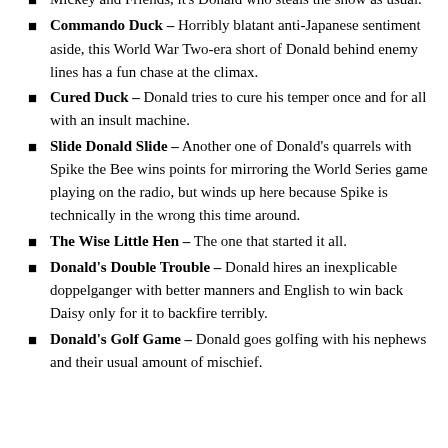Mickey and Friends, it's Donald who steals the show as usual.
Commando Duck – Horribly blatant anti-Japanese sentiment aside, this World War Two-era short of Donald behind enemy lines has a fun chase at the climax.
Cured Duck – Donald tries to cure his temper once and for all with an insult machine.
Slide Donald Slide – Another one of Donald's quarrels with Spike the Bee wins points for mirroring the World Series game playing on the radio, but winds up here because Spike is technically in the wrong this time around.
The Wise Little Hen – The one that started it all.
Donald's Double Trouble – Donald hires an inexplicable doppelganger with better manners and English to win back Daisy only for it to backfire terribly.
Donald's Golf Game – Donald goes golfing with his nephews and their usual amount of mischief.